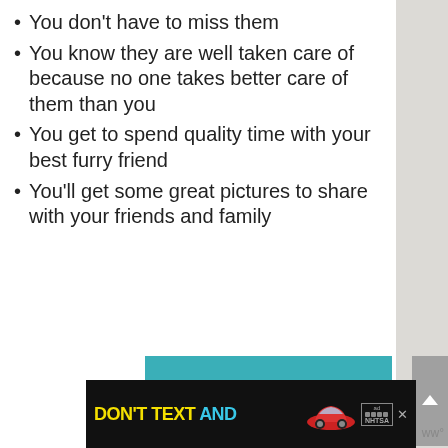You don't have to miss them
You know they are well taken care of because no one takes better care of them than you
You get to spend quality time with your best furry friend
You'll get some great pictures to share with your friends and family
[Figure (infographic): Teal advertisement banner: 'It's time to talk about Alzheimer's.' with a 'LEARN MORE' button and Alzheimer's Association logo]
[Figure (infographic): Black advertisement banner at bottom: 'DON'T TEXT AND' with yellow and cyan text, a red car illustration, and NHTSA logo]